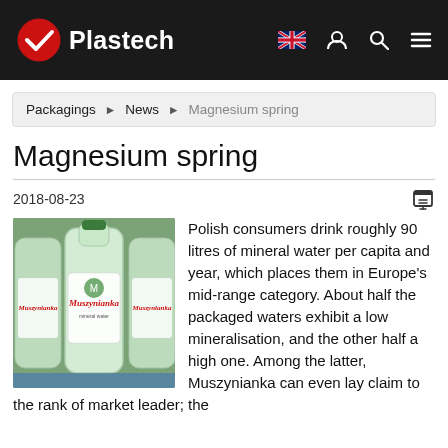Plastech
Packagings › News › Magnesium spring
Magnesium spring
2018-08-23
[Figure (photo): Bottles of Muszynianka mineral water on a production/conveyor line, green labels visible]
Polish consumers drink roughly 90 litres of mineral water per capita and year, which places them in Europe's mid-range category. About half the packaged waters exhibit a low mineralisation, and the other half a high one. Among the latter, Muszynianka can even lay claim to the rank of market leader; the